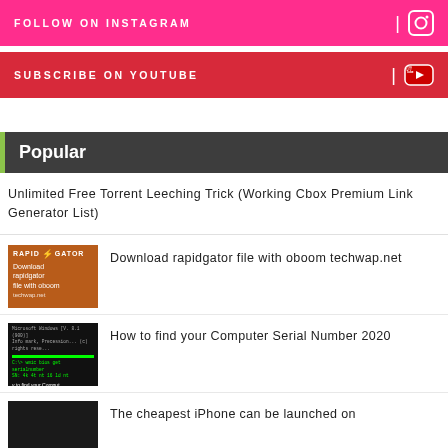FOLLOW ON INSTAGRAM
SUBSCRIBE ON YOUTUBE
Popular
Unlimited Free Torrent Leeching Trick (Working Cbox Premium Link Generator List)
[Figure (photo): Rapidgator thumbnail - orange background with RAPID GATOR logo and text 'Download rapidgator file with oboom']
Download rapidgator file with oboom techwap.net
[Figure (screenshot): Command prompt / terminal window showing green text on black background with text 'How to find your Computer' and 'al Number']
How to find your Computer Serial Number 2020
[Figure (photo): Dark thumbnail - cheapest iPhone article image]
The cheapest iPhone can be launched on